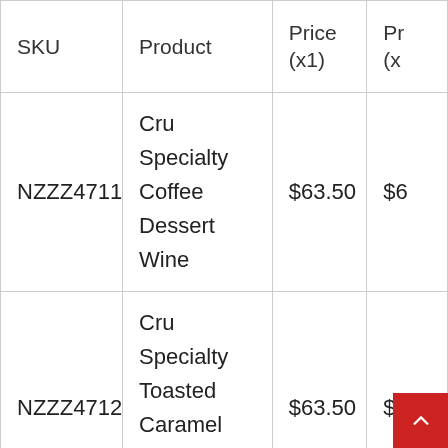| SKU | Product | Price (x1) | Price (x…) |
| --- | --- | --- | --- |
| NZZZ4711 | Cru Specialty Coffee Dessert Wine | $63.50 | $6… |
| NZZZ4712 | Cru Specialty Toasted Caramel Dessert Wine | $63.50 | $6… |
|  | Cru |  |  |